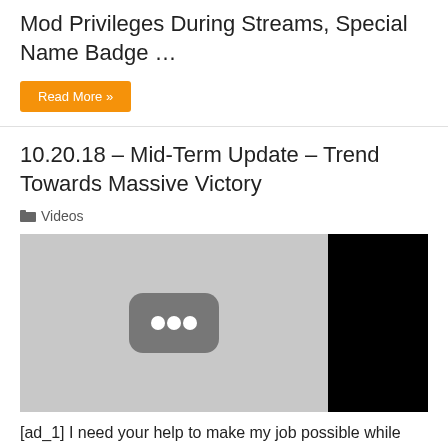Mod Privileges During Streams, Special Name Badge …
Read More »
10.20.18 – Mid-Term Update – Trend Towards Massive Victory
Videos
[Figure (screenshot): Video thumbnail placeholder showing a gray YouTube-style placeholder icon on the left and a black rectangle on the right]
[ad_1] I need your help to make my job possible while fulfilling my duty to support my family. ?🔴 – 1 hour AND recurring donation options ? Paypal: